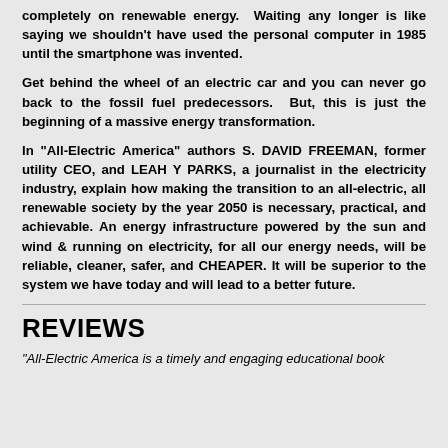completely on renewable energy. Waiting any longer is like saying we shouldn't have used the personal computer in 1985 until the smartphone was invented.
Get behind the wheel of an electric car and you can never go back to the fossil fuel predecessors. But, this is just the beginning of a massive energy transformation.
In “All-Electric America” authors S. DAVID FREEMAN, former utility CEO, and LEAH Y PARKS, a journalist in the electricity industry, explain how making the transition to an all-electric, all renewable society by the year 2050 is necessary, practical, and achievable. An energy infrastructure powered by the sun and wind & running on electricity, for all our energy needs, will be reliable, cleaner, safer, and CHEAPER. It will be superior to the system we have today and will lead to a better future.
REVIEWS
“All-Electric America is a timely and engaging educational book